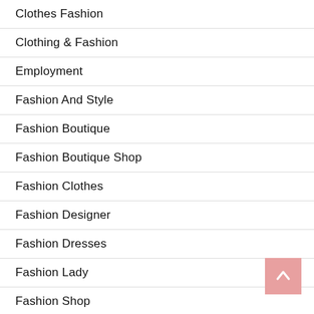Clothes Fashion
Clothing & Fashion
Employment
Fashion And Style
Fashion Boutique
Fashion Boutique Shop
Fashion Clothes
Fashion Designer
Fashion Dresses
Fashion Lady
Fashion Shop
Fashion Shop Online
Fashion Shop Online
Fashion Show